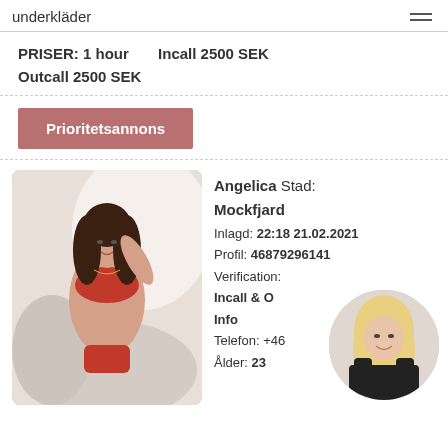underkläder
PRISER: 1 hour   Incall 2500 SEK
Outcall 2500 SEK
Prioritetsannons
[Figure (photo): Young woman in red lingerie posing on a chair]
Angelica Stad: Mockfjard
Inlagd: 22:18 21.02.2021
Profil: 46879296141
Verification:
Incall & O
Info
Telefon: +46
Ålder: 23
[Figure (photo): Circular overlay photo of a blonde woman in black gloves]